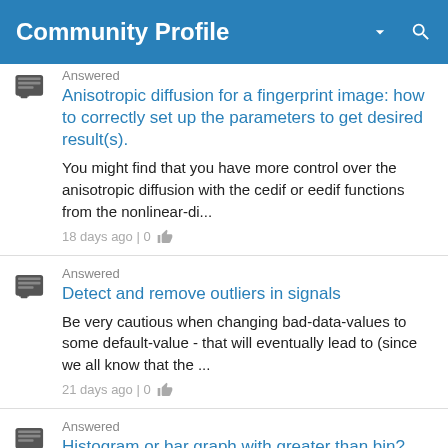Community Profile
Answered
Anisotropic diffusion for a fingerprint image: how to correctly set up the parameters to get desired result(s).
You might find that you have more control over the anisotropic diffusion with the cedif or eedif functions from the nonlinear-di...
18 days ago | 0
Answered
Detect and remove outliers in signals
Be very cautious when changing bad-data-values to some default-value - that will eventually lead to (since we all know that the ...
21 days ago | 0
Answered
Histogram or bar graph with greater than bin?
Maybe something like this would be good enough/a